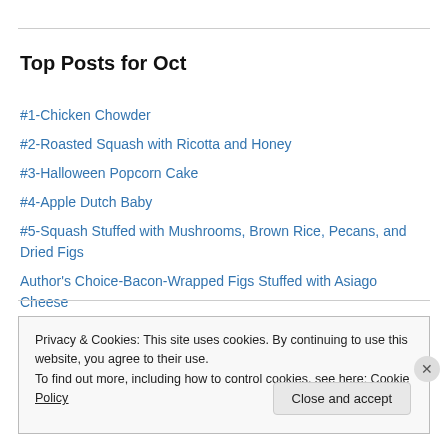Top Posts for Oct
#1-Chicken Chowder
#2-Roasted Squash with Ricotta and Honey
#3-Halloween Popcorn Cake
#4-Apple Dutch Baby
#5-Squash Stuffed with Mushrooms, Brown Rice, Pecans, and Dried Figs
Author's Choice-Bacon-Wrapped Figs Stuffed with Asiago Cheese
Privacy & Cookies: This site uses cookies. By continuing to use this website, you agree to their use.
To find out more, including how to control cookies, see here: Cookie Policy
Close and accept